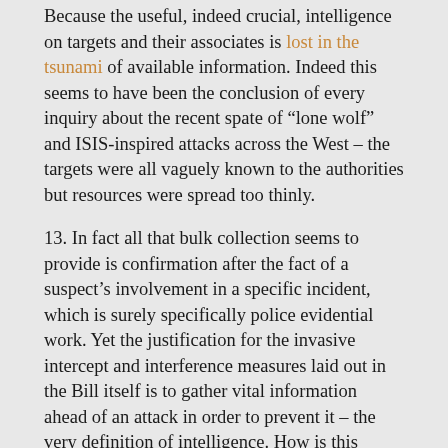Because the useful, indeed crucial, intelligence on targets and their associates is lost in the tsunami of available information. Indeed this seems to have been the conclusion of every inquiry about the recent spate of “lone wolf” and ISIS-inspired attacks across the West – the targets were all vaguely known to the authorities but resources were spread too thinly.
13. In fact all that bulk collection seems to provide is confirmation after the fact of a suspect’s involvement in a specific incident, which is surely specifically police evidential work. Yet the justification for the invasive intercept and interference measures laid out in the Bill itself is to gather vital information ahead of an attack in order to prevent it – the very definition of intelligence. How is this possible if the sheer scale of bulk collection drowns out the vital nuggets of intelligence?
14. Finally, I would like to raise the point that the phrase “national security” has never been defined for legal purposes in the UK. Surely this should be the very first step